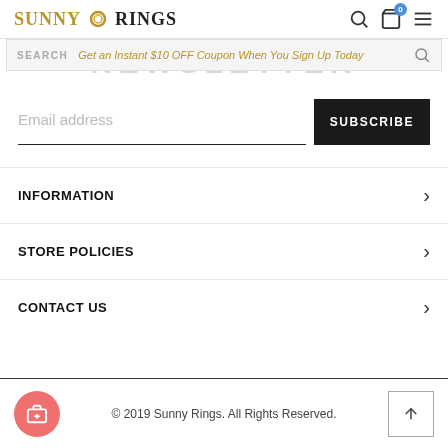Sunny Rings
NEWSLETTER
SEARCH  Get an Instant $10 OFF Coupon When You Sign Up Today
Email address
SUBSCRIBE
INFORMATION
STORE POLICIES
CONTACT US
© 2019 Sunny Rings. All Rights Reserved.